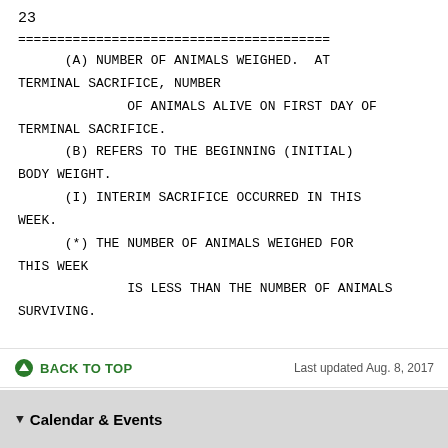23
========================================
    (A) NUMBER OF ANIMALS WEIGHED.  AT TERMINAL SACRIFICE, NUMBER
            OF ANIMALS ALIVE ON FIRST DAY OF TERMINAL SACRIFICE.
      (B) REFERS TO THE BEGINNING (INITIAL) BODY WEIGHT.
      (I) INTERIM SACRIFICE OCCURRED IN THIS WEEK.
      (*) THE NUMBER OF ANIMALS WEIGHED FOR THIS WEEK
              IS LESS THAN THE NUMBER OF ANIMALS SURVIVING.
BACK TO TOP
Last updated Aug. 8, 2017
Calendar & Events